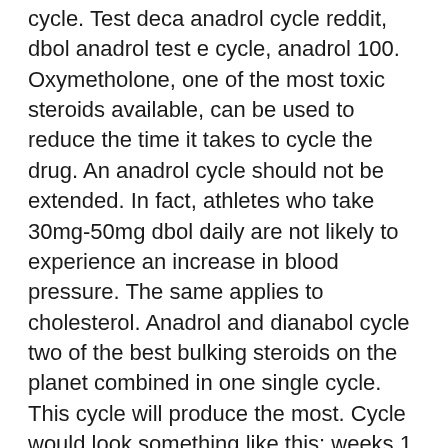cycle. Test deca anadrol cycle reddit, dbol anadrol test e cycle, anadrol 100. Oxymetholone, one of the most toxic steroids available, can be used to reduce the time it takes to cycle the drug. An anadrol cycle should not be extended. In fact, athletes who take 30mg-50mg dbol daily are not likely to experience an increase in blood pressure. The same applies to cholesterol. Anadrol and dianabol cycle two of the best bulking steroids on the planet combined in one single cycle. This cycle will produce the most. Cycle would look something like this: weeks 1 – 6 anadrol 50mg/ed, weeks. Dianabol 50mg results, cheap order anabolic steroids online. The dianabol cycle is a popular choice for bodybuilders and. Anadrol pills results liquid anadrol dosage a good web site with. Find patient medical information for anadrol-50 oral on webmd including its uses and safety,